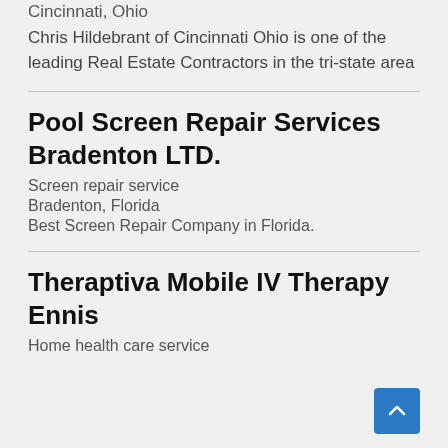Cincinnati, Ohio
Chris Hildebrant of Cincinnati Ohio is one of the leading Real Estate Contractors in the tri-state area
Pool Screen Repair Services Bradenton LTD.
Screen repair service
Bradenton, Florida
Best Screen Repair Company in Florida.
Theraptiva Mobile IV Therapy Ennis
Home health care service